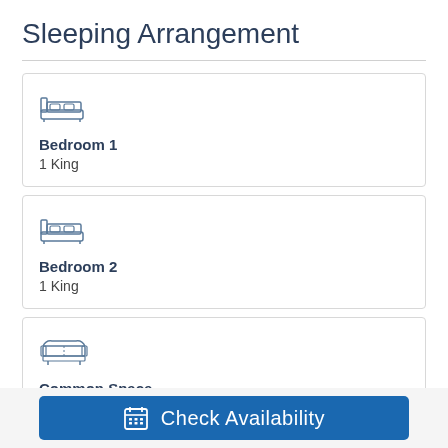Sleeping Arrangement
Bedroom 1
1 King
Bedroom 2
1 King
Common Space
1 Sofa Bed